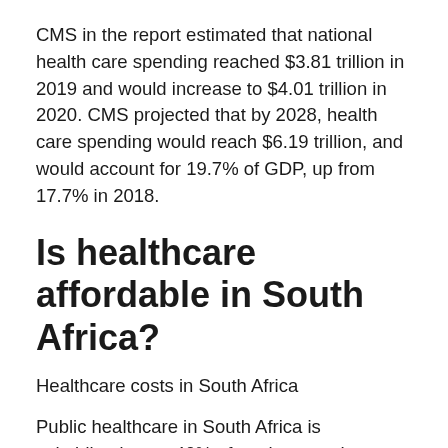CMS in the report estimated that national health care spending reached $3.81 trillion in 2019 and would increase to $4.01 trillion in 2020. CMS projected that by 2028, health care spending would reach $6.19 trillion, and would account for 19.7% of GDP, up from 17.7% in 2018.
Is healthcare affordable in South Africa?
Healthcare costs in South Africa
Public healthcare in South Africa is subsidized up to 40% of total costs; charges are based on your income and number of children. Visits to the doctor can cost around